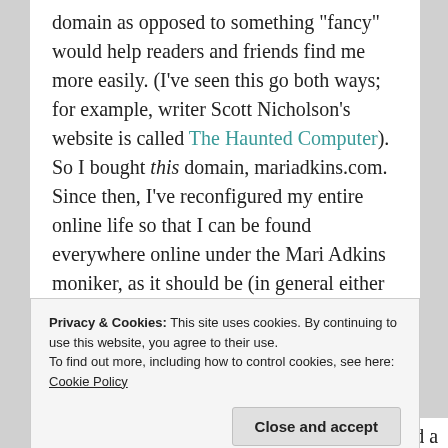domain as opposed to something 'fancy' would help readers and friends find me more easily. (I've seen this go both ways; for example, writer Scott Nicholson's website is called The Haunted Computer). So I bought this domain, mariadkins.com. Since then, I've reconfigured my entire online life so that I can be found everywhere online under the Mari Adkins moniker, as it should be (in general either Mari Adkins or mariadkins).
When it came time to give the website a name
Privacy & Cookies: This site uses cookies. By continuing to use this website, you agree to their use.
To find out more, including how to control cookies, see here:
Cookie Policy
time, I kept the writing blog as MariO and had a